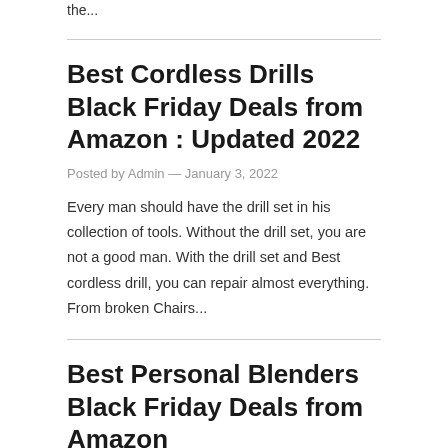the...
Best Cordless Drills Black Friday Deals from Amazon : Updated 2022
Posted by Admin — January 3, 2022
Every man should have the drill set in his collection of tools. Without the drill set, you are not a good man. With the drill set and Best cordless drill, you can repair almost everything. From broken Chairs...
Best Personal Blenders Black Friday Deals from Amazon